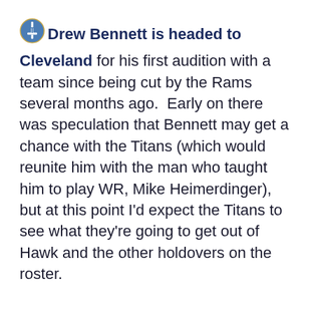[Titans logo] Drew Bennett is headed to Cleveland for his first audition with a team since being cut by the Rams several months ago. Early on there was speculation that Bennett may get a chance with the Titans (which would reunite him with the man who taught him to play WR, Mike Heimerdinger), but at this point I'd expect the Titans to see what they're going to get out of Hawk and the other holdovers on the roster.